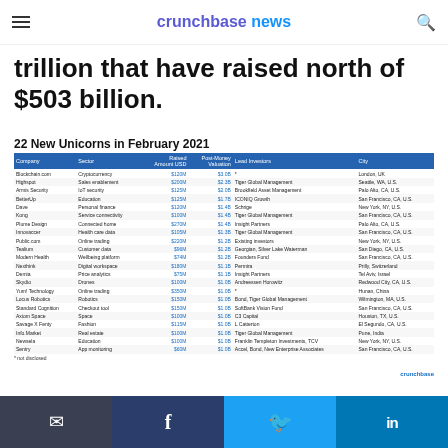crunchbase news
trillion that have raised north of $503 billion.
22 New Unicorns in February 2021
| Company | Sector | Raised Amount USD | Post-Money Valuation | Lead Investors | City |
| --- | --- | --- | --- | --- | --- |
| Blockchain.com | Cryptocurrency | $120M | $3.0B | * | London, UK |
| Highspot | Sales enablement | $200M | $2.3B | Tiger Global Management | Seattle, WA, U.S. |
| Armis Security | IoT security | $125M | $2.0B | Brookfield Asset Management | Palo Alto, CA, U.S. |
| BetterUp | Education | $125M | $1.7B | ICONIQ Growth | San Francisco, CA, U.S. |
| Dave | Personal finance | $120M | $1.4B | Schrige | New York, NY, U.S. |
| Kong | Service connectivity | $100M | $1.4B | Tiger Global Management | San Francisco, CA, U.S. |
| Plume Design | Connected home | $270M | $1.4B | Insight Partners | Palo Alto, CA, U.S. |
| Innovaccer | Health care data | $105M | $1.3B | Tiger Global Management | San Francisco, CA, U.S. |
| Public.com | Online trading | $220M | $1.2B | Existing investors | New York, NY, U.S. |
| Tealium | Customer data | $96M | $1.2B | Georgian, Silver Lake Waterman | San Diego, CA, U.S. |
| Modern Health | Wellbeing platform | $74M | $1.2B | Founders Fund | San Francisco, CA, U.S. |
| Nexthink | Digital workspace | $180M | $1.1B | Permira | Prilly, Switzerland |
| Demia | Price analytics | $75M | $1.1B | Insight Partners | Tel Aviv, Israel |
| Skydio | Drones | $100M | $1.0B | Andreessen Horowitz | Redwood City, CA, U.S. |
| Yum! Technology | Online trading | $350M | $1.0B | * | Hunan, China |
| Locus Robotics | Robotics | $150M | $1.0B | Bond, Tiger Global Management | Wilmington, MA, U.S. |
| Standard Cognition | Checkout tool | $150M | $1.0B | SoftBank Vision Fund | San Francisco, CA, U.S. |
| Axiom Space | Space | $100M | $1.0B | C3 Capital | Houston, TX, U.S. |
| Savage X Fenty | Fashion | $115M | $1.0B | L Catterton | El Segundo, CA, U.S. |
| Info.Market | Real estate | $100M | $1.0B | Tiger Global Management | Pune, India |
| Newsela | Education | $100M | $1.0B | Franklin Templeton Investments, TCV | New York, NY, U.S. |
| Sentry | App monitoring | $60M | $1.0B | Accel, Bond, New Enterprise Associates | San Francisco, CA, U.S. |
* not disclosed